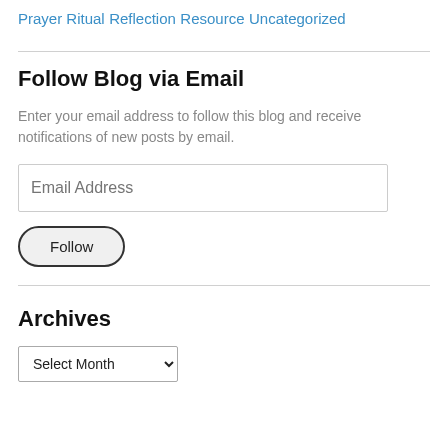Prayer Ritual
Reflection
Resource
Uncategorized
Follow Blog via Email
Enter your email address to follow this blog and receive notifications of new posts by email.
Archives